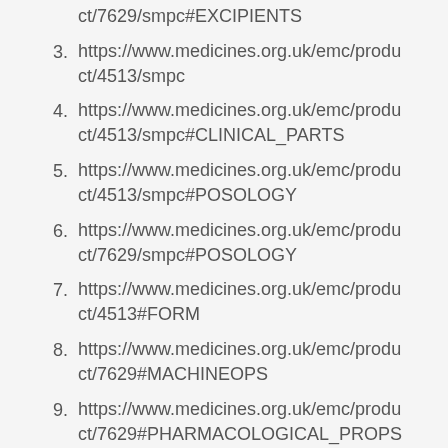ct/7629/smpc#EXCIPIENTS
3. https://www.medicines.org.uk/emc/product/4513/smpc
4. https://www.medicines.org.uk/emc/product/4513/smpc#CLINICAL_PARTS
5. https://www.medicines.org.uk/emc/product/4513/smpc#POSOLOGY
6. https://www.medicines.org.uk/emc/product/7629/smpc#POSOLOGY
7. https://www.medicines.org.uk/emc/product/4513#FORM
8. https://www.medicines.org.uk/emc/product/7629#MACHINEOPS
9. https://www.medicines.org.uk/emc/product/7629#PHARMACOLOGICAL_PROPS
10. https://www.medicines.org.uk/emc/produ